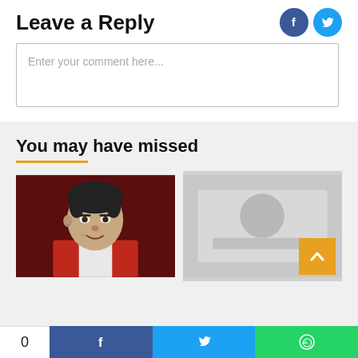Leave a Reply
Enter your comment here...
You may have missed
[Figure (photo): Portrait photo of a young male athlete in a red and white sports jersey, dark hair, tattoo visible on neck, smiling slightly against a dark red background.]
[Figure (photo): Partially visible image with gray/muted tones, an orange scroll-to-top button visible at bottom right.]
0  [Facebook share]  [Twitter share]  [WhatsApp share]